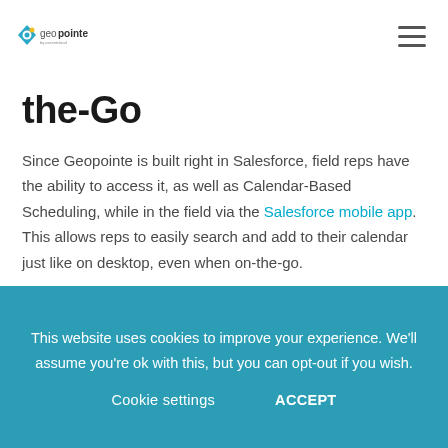[Figure (logo): Geopointe logo by ascent cloud]
the-Go
Since Geopointe is built right in Salesforce, field reps have the ability to access it, as well as Calendar-Based Scheduling, while in the field via the Salesforce mobile app. This allows reps to easily search and add to their calendar just like on desktop, even when on-the-go.
This website uses cookies to improve your experience. We'll assume you're ok with this, but you can opt-out if you wish.
Cookie settings  ACCEPT